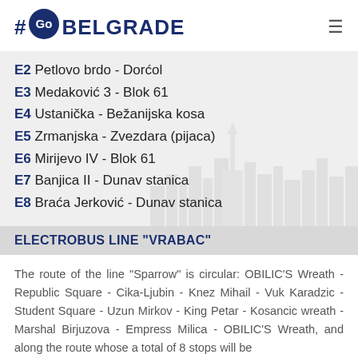#Go BELGRADE
E2 Petlovo brdo - Dorćol
E3 Medaković 3 - Blok 61
E4 Ustanička - Bežanijska kosa
E5 Zrmanjska - Zvezdara (pijaca)
E6 Mirijevo IV - Blok 61
E7 Banjica II - Dunav stanica
E8 Braća Jerković - Dunav stanica
ELECTROBUS LINE "VRABAC"
The route of the line "Sparrow" is circular: OBILIC'S Wreath - Republic Square - Cika-Ljubin - Knez Mihail - Vuk Karadzic - Student Square - Uzun Mirkov - King Petar - Kosancic wreath - Marshal Birjuzova - Empress Milica - OBILIC'S Wreath, and along the route whose a total of 8 stops will be